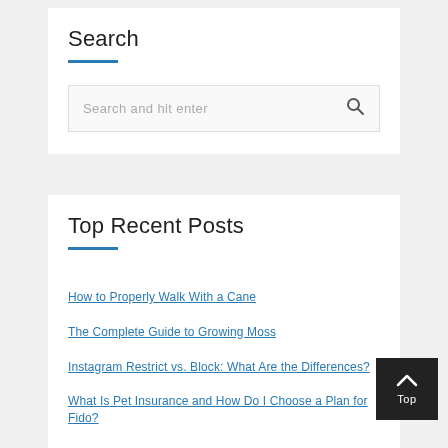Search
[Figure (screenshot): Search input box with placeholder text 'Search and hit enter' and a search icon on the right]
Top Recent Posts
How to Properly Walk With a Cane
The Complete Guide to Growing Moss
Instagram Restrict vs. Block: What Are the Differences?
What Is Pet Insurance and How Do I Choose a Plan for Fido?
How To Remove the Crank From a